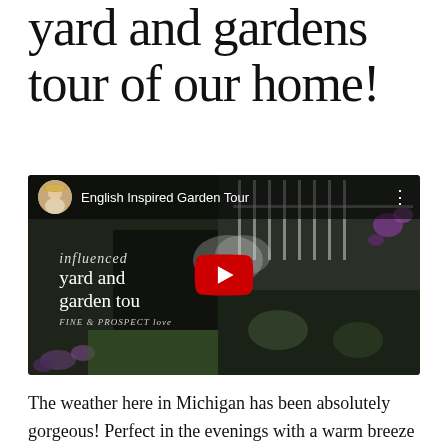yard and gardens tour of our home!
[Figure (screenshot): YouTube video thumbnail showing an English Inspired Garden Tour with a channel avatar, title bar, YouTube play button, and garden background imagery with text overlays reading 'influenced', 'yard and garden tou[r]', and 'FINE & PROSPECT love']
The weather here in Michigan has been absolutely gorgeous! Perfect in the evenings with a warm breeze so that you're neither hot or cold. I love